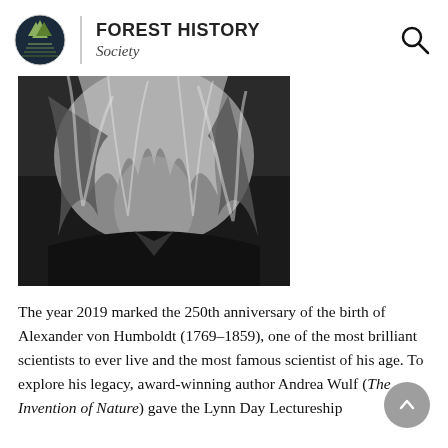FOREST HISTORY Society
[Figure (photo): Black and white close-up photograph of a person with long flowing light-colored hair against a dark background]
The year 2019 marked the 250th anniversary of the birth of Alexander von Humboldt (1769–1859), one of the most brilliant scientists to ever live and the most famous scientist of his age. To explore his legacy, award-winning author Andrea Wulf (The Invention of Nature) gave the Lynn Day Lectureship